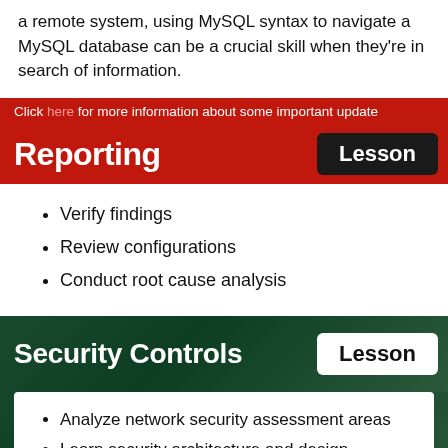a remote system, using MySQL syntax to navigate a MySQL database can be a crucial skill when they're in search of information.
Click here for more information about some important updates
Reporting
Verify findings
Review configurations
Conduct root cause analysis
Security Controls
Analyze network security assessment areas
Learn security architecture and design
understand firewall technologies